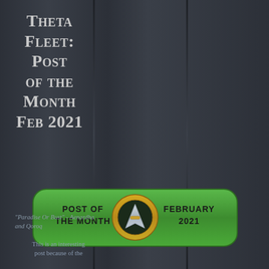Theta Fleet: Post of the Month Feb 2021
[Figure (logo): Post of the Month badge with Star Trek Starfleet insignia in center, green rounded rectangle background, text 'POST OF THE MONTH' on left and 'FEBRUARY 2021' on right]
"Paradise Or Bust" - Aenardha and Qoroq
This is an interesting post because of the